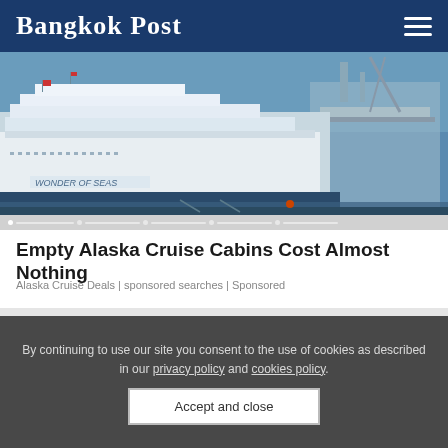Bangkok Post
[Figure (photo): Cruise ship named 'Wonder of the Seas' docked at port, viewed from the side, blue sky and other ships visible in background]
Empty Alaska Cruise Cabins Cost Almost Nothing
Alaska Cruise Deals | sponsored searches | Sponsored
By continuing to use our site you consent to the use of cookies as described in our privacy policy and cookies policy.
Accept and close